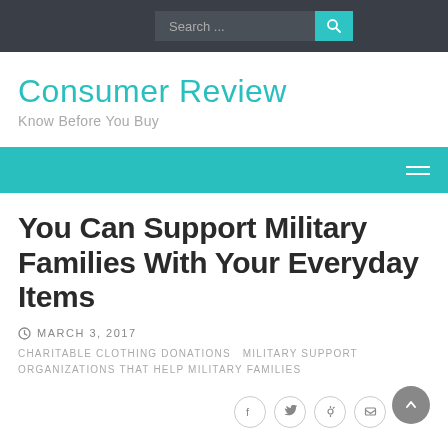Search ...
Consumer Review
Know Before You Buy
You Can Support Military Families With Your Everyday Items
MARCH 3, 2017
CHARITABLE CLOTHING DONATIONS   MILITARY SUPPORT   ORGANIZATIONS THAT HELP MILITARY FAMILIES